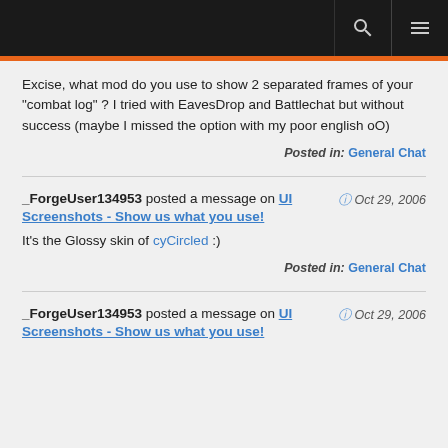Excise, what mod do you use to show 2 separated frames of your "combat log" ? I tried with EavesDrop and Battlechat but without success (maybe I missed the option with my poor english oO)
Posted in: General Chat
_ForgeUser134953 posted a message on UI Screenshots - Show us what you use!  Oct 29, 2006
It's the Glossy skin of cyCircled :)
Posted in: General Chat
_ForgeUser134953 posted a message on UI Screenshots - Show us what you use!  Oct 29, 2006